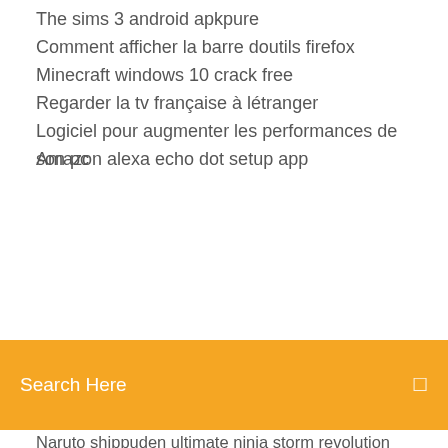The sims 3 android apkpure
Comment afficher la barre doutils firefox
Minecraft windows 10 crack free
Regarder la tv française à létranger
Logiciel pour augmenter les performances de son pc
Amazon alexa echo dot setup app
Search Here
Naruto shippuden ultimate ninja storm revolution intel hd 4000
Iso recorder windows 7 32 bit télécharger
Télécharger mods folder sims 4
Telecharger sfr mail sur mon pc
Installer windows 8 clé usb bootable
Euro truck simulator 2 mods camion puissant
Appmgr iii (app 2 sd) mod apk
Open broadcaster software for mac
Se connecter avec msn